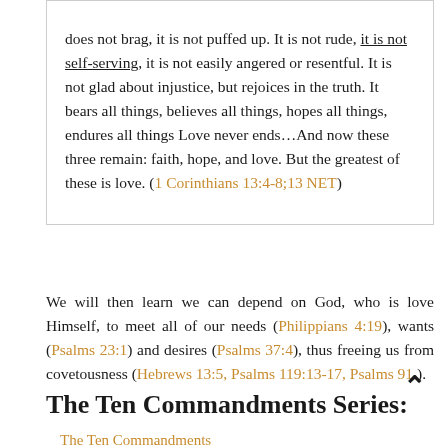does not brag, it is not puffed up. It is not rude, it is not self-serving, it is not easily angered or resentful. It is not glad about injustice, but rejoices in the truth. It bears all things, believes all things, hopes all things, endures all things Love never ends…And now these three remain: faith, hope, and love. But the greatest of these is love. (1 Corinthians 13:4-8;13 NET)
We will then learn we can depend on God, who is love Himself, to meet all of our needs (Philippians 4:19), wants (Psalms 23:1) and desires (Psalms 37:4), thus freeing us from covetousness (Hebrews 13:5, Psalms 119:13-17, Psalms 91.).
The Ten Commandments Series: